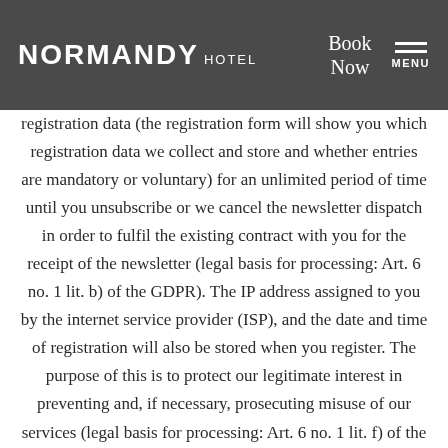NORMANDY HOTEL | Book Now | MENU
registration data (the registration form will show you which registration data we collect and store and whether entries are mandatory or voluntary) for an unlimited period of time until you unsubscribe or we cancel the newsletter dispatch in order to fulfil the existing contract with you for the receipt of the newsletter (legal basis for processing: Art. 6 no. 1 lit. b) of the GDPR). The IP address assigned to you by the internet service provider (ISP), and the date and time of registration will also be stored when you register. The purpose of this is to protect our legitimate interest in preventing and, if necessary, prosecuting misuse of our services (legal basis for processing: Art. 6 no. 1 lit. f) of the GDPR). In addition, we will store and process your consent to receive the newsletter for the retention period specified below. This serves to protect our legitimate interest in being